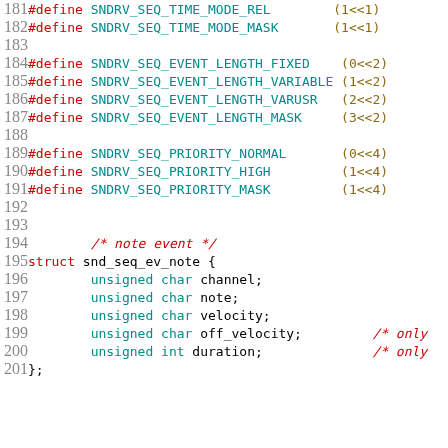181  #define SNDRV_SEQ_TIME_MODE_REL        (1<<1)
182  #define SNDRV_SEQ_TIME_MODE_MASK       (1<<1)
183
184  #define SNDRV_SEQ_EVENT_LENGTH_FIXED    (0<<2)
185  #define SNDRV_SEQ_EVENT_LENGTH_VARIABLE (1<<2)
186  #define SNDRV_SEQ_EVENT_LENGTH_VARUSR   (2<<2)
187  #define SNDRV_SEQ_EVENT_LENGTH_MASK     (3<<2)
188
189  #define SNDRV_SEQ_PRIORITY_NORMAL       (0<<4)
190  #define SNDRV_SEQ_PRIORITY_HIGH         (1<<4)
191  #define SNDRV_SEQ_PRIORITY_MASK         (1<<4)
192
193
194            /* note event */
195  struct snd_seq_ev_note {
196            unsigned char channel;
197            unsigned char note;
198            unsigned char velocity;
199            unsigned char off_velocity;         /* only
200            unsigned int duration;              /* only
201  };